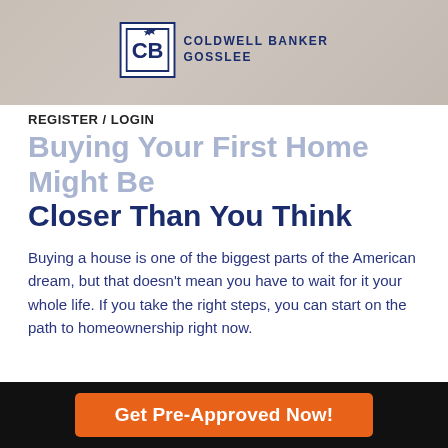[Figure (photo): Header image showing a person, partially visible, with Coldwell Banker Gosslee logo centered]
REGISTER / LOGIN
Buying Your First Home Might Be Closer Than You Think
Buying a house is one of the biggest parts of the American dream, but that doesn't mean you have to wait for it your whole life. If you take the right steps, you can start on the path to homeownership right now.
Each step builds on the last, and you'll learn more about your needs and challenges as you go. If you run into something you need to reassess, advice is a call or email away.
you can afford.
Get Pre-Approved Now!